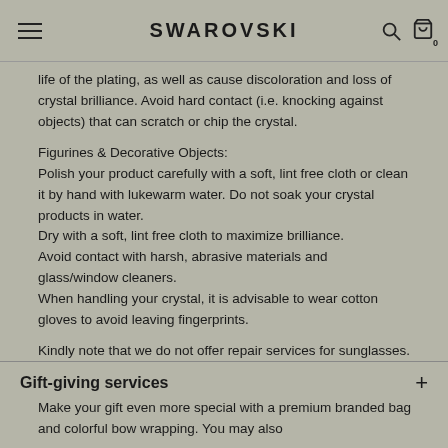SWAROVSKI
life of the plating, as well as cause discoloration and loss of crystal brilliance. Avoid hard contact (i.e. knocking against objects) that can scratch or chip the crystal.
Figurines & Decorative Objects:
Polish your product carefully with a soft, lint free cloth or clean it by hand with lukewarm water. Do not soak your crystal products in water.
Dry with a soft, lint free cloth to maximize brilliance.
Avoid contact with harsh, abrasive materials and glass/window cleaners.
When handling your crystal, it is advisable to wear cotton gloves to avoid leaving fingerprints.
Kindly note that we do not offer repair services for sunglasses.
Read more
Gift-giving services
Make your gift even more special with a premium branded bag and colorful bow wrapping. You may also